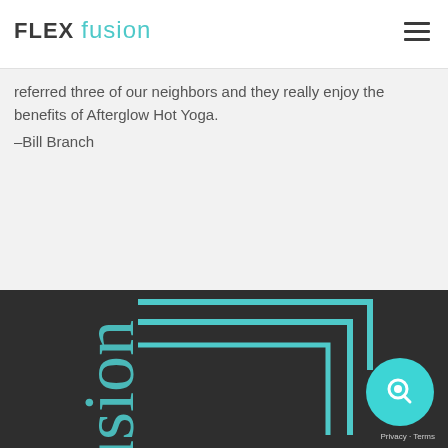FLEX fusion
referred three of our neighbors and they really enjoy the benefits of Afterglow Hot Yoga.
–Bill Branch
[Figure (logo): Flex Fusion footer logo on dark background with teal geometric bracket design and cursive 'fusion' text]
[Figure (other): Chat support widget with teal circular icon and Privacy - Terms label]